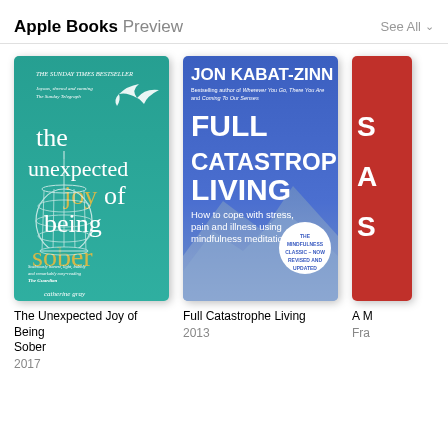Apple Books Preview
[Figure (illustration): Book cover: The Unexpected Joy of Being Sober by Catherine Gray. Teal/turquoise background with a bird silhouette and a hanging birdcage illustration. THE SUNDAY TIMES BESTSELLER at top. Title in large white and yellow text.]
The Unexpected Joy of Being Sober
2017
[Figure (illustration): Book cover: Full Catastrophe Living by Jon Kabat-Zinn. Blue background with mountain imagery. Subtitle: How to cope with stress, pain and illness using mindfulness meditation. Badge: THE MINDFULNESS CLASSIC – NOW REVISED AND UPDATED.]
Full Catastrophe Living
2013
[Figure (illustration): Partially visible red book cover, third book cropped at right edge.]
A M
Fra